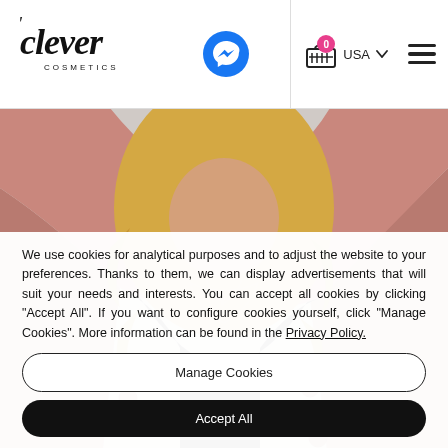[Figure (logo): Clever Cosmetics logo in black cursive script]
[Figure (illustration): Messenger chat icon in blue circle]
[Figure (illustration): Shopping cart icon with badge showing 0, USA dropdown, hamburger menu]
[Figure (photo): Blonde woman wearing a dusty rose blazer over a black lace top with gold necklaces]
We use cookies for analytical purposes and to adjust the website to your preferences. Thanks to them, we can display advertisements that will suit your needs and interests. You can accept all cookies by clicking "Accept All". If you want to configure cookies yourself, click "Manage Cookies". More information can be found in the Privacy Policy.
Manage Cookies
Accept All